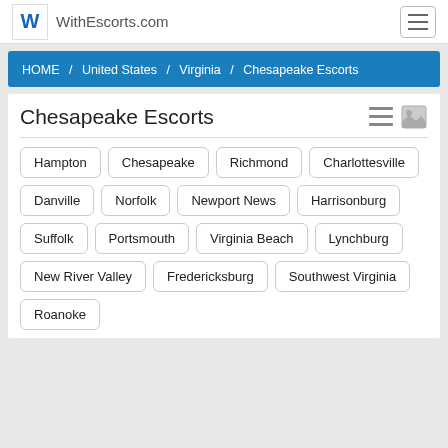WithEscorts.com
HOME / United States / Virginia / Chesapeake Escorts
Chesapeake Escorts
Hampton
Chesapeake
Richmond
Charlottesville
Danville
Norfolk
Newport News
Harrisonburg
Suffolk
Portsmouth
Virginia Beach
Lynchburg
New River Valley
Fredericksburg
Southwest Virginia
Roanoke